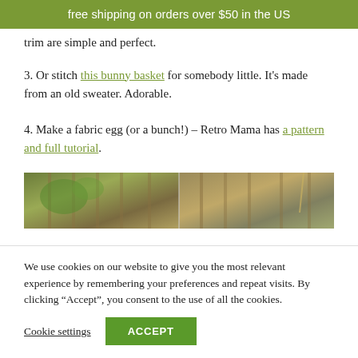free shipping on orders over $50 in the US
trim are simple and perfect.
3. Or stitch this bunny basket for somebody little. It's made from an old sweater. Adorable.
4. Make a fabric egg (or a bunch!) – Retro Mama has a pattern and full tutorial.
[Figure (photo): A photo strip showing outdoor wooden fence and foliage in two segments.]
We use cookies on our website to give you the most relevant experience by remembering your preferences and repeat visits. By clicking “Accept”, you consent to the use of all the cookies.